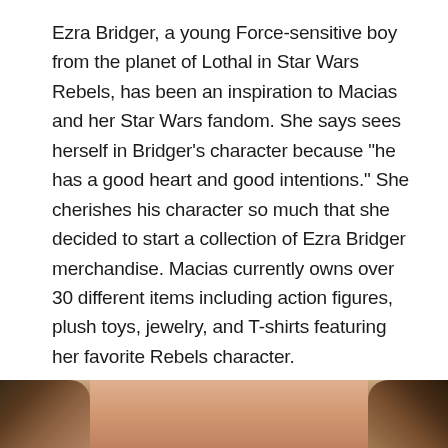Ezra Bridger, a young Force-sensitive boy from the planet of Lothal in Star Wars Rebels, has been an inspiration to Macias and her Star Wars fandom. She says sees herself in Bridger's character because "he has a good heart and good intentions." She cherishes his character so much that she decided to start a collection of Ezra Bridger merchandise. Macias currently owns over 30 different items including action figures, plush toys, jewelry, and T-shirts featuring her favorite Rebels character.
[Figure (photo): Bottom portion of a photograph showing the top of a person's head with dark hair, cropped at the lower edge of the page.]